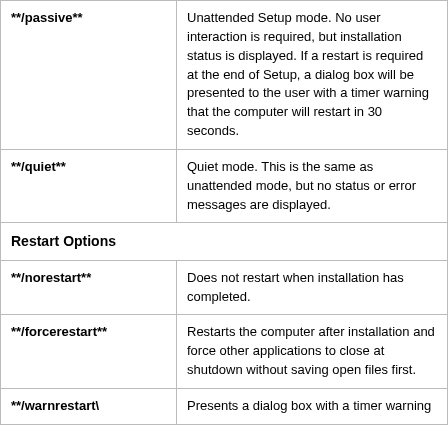| Switch | Description |
| --- | --- |
| **/passive** | Unattended Setup mode. No user interaction is required, but installation status is displayed. If a restart is required at the end of Setup, a dialog box will be presented to the user with a timer warning that the computer will restart in 30 seconds. |
| **/quiet** | Quiet mode. This is the same as unattended mode, but no status or error messages are displayed. |
| Restart Options |  |
| **/norestart** | Does not restart when installation has completed. |
| **/forcerestart** | Restarts the computer after installation and force other applications to close at shutdown without saving open files first. |
| **/warnrestart\ | Presents a dialog box with a timer warning |